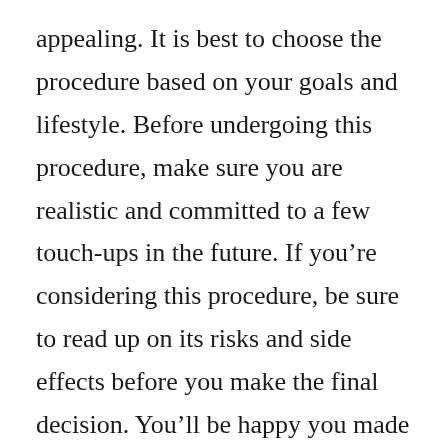appealing. It is best to choose the procedure based on your goals and lifestyle. Before undergoing this procedure, make sure you are realistic and committed to a few touch-ups in the future. If you're considering this procedure, be sure to read up on its risks and side effects before you make the final decision. You'll be happy you made the decision.
Micropigmentation has many benefits. Aside